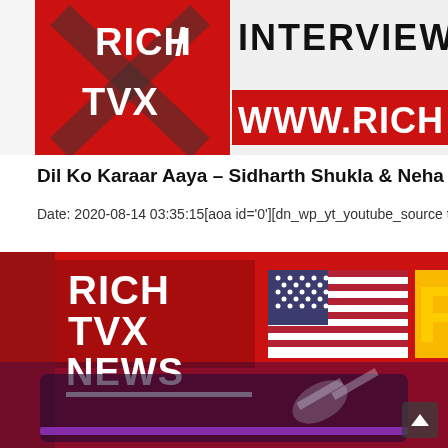[Figure (screenshot): Top portion of a Rich TVX News webpage showing a red banner thumbnail with 'RICH TVX' logo and partial text 'INTERVIEW' and 'WWW RICH' on white background with interview graphic]
Dil Ko Karaar Aaya – Sidharth Shukla & Neha Sharma Neha
Date: 2020-08-14 03:35:15[aoa id='0'][dn_wp_yt_youtube_source type=
[Figure (screenshot): Rich TVX News video thumbnail showing 'RICH TVX NEWS' logo in white text on red background with a US flag, yellow letter 'F' partially visible, and a blurred TV screen below]